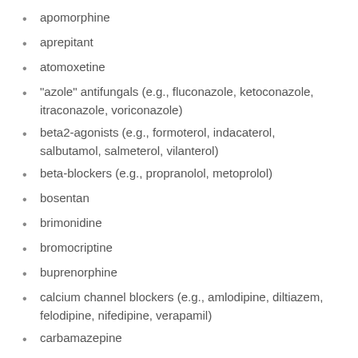apomorphine
aprepitant
atomoxetine
"azole" antifungals (e.g., fluconazole, ketoconazole, itraconazole, voriconazole)
beta2-agonists (e.g., formoterol, indacaterol, salbutamol, salmeterol, vilanterol)
beta-blockers (e.g., propranolol, metoprolol)
bosentan
brimonidine
bromocriptine
buprenorphine
calcium channel blockers (e.g., amlodipine, diltiazem, felodipine, nifedipine, verapamil)
carbamazepine
certain anesthetics
chloroquine
cholestyramine